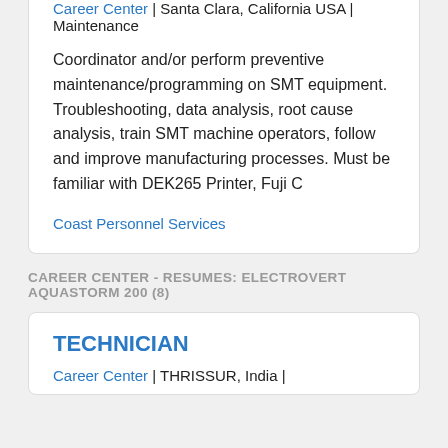Career Center | Santa Clara, California USA | Maintenance
Coordinator and/or perform preventive maintenance/programming on SMT equipment. Troubleshooting, data analysis, root cause analysis, train SMT machine operators, follow and improve manufacturing processes. Must be familiar with DEK265 Printer, Fuji C
Coast Personnel Services
CAREER CENTER - RESUMES: ELECTROVERT AQUASTORM 200 (8)
TECHNICIAN
Career Center | THRISSUR, India |